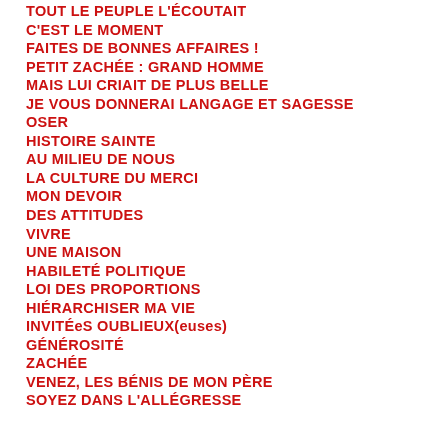TOUT LE PEUPLE L'ÉCOUTAIT
C'EST LE MOMENT
FAITES DE BONNES AFFAIRES !
PETIT ZACHÉE : GRAND HOMME
MAIS LUI CRIAIT DE PLUS BELLE
JE VOUS DONNERAI LANGAGE ET SAGESSE
OSER
HISTOIRE SAINTE
AU MILIEU DE NOUS
LA CULTURE DU MERCI
MON DEVOIR
DES ATTITUDES
VIVRE
UNE MAISON
HABILETÉ POLITIQUE
LOI DES PROPORTIONS
HIÉRARCHISER MA VIE
INVITÉeS OUBLIEUX(euses)
GÉNÉROSITÉ
ZACHÉE
VENEZ, LES BÉNIS DE MON PÈRE
SOYEZ DANS L'ALLÉGRESSE